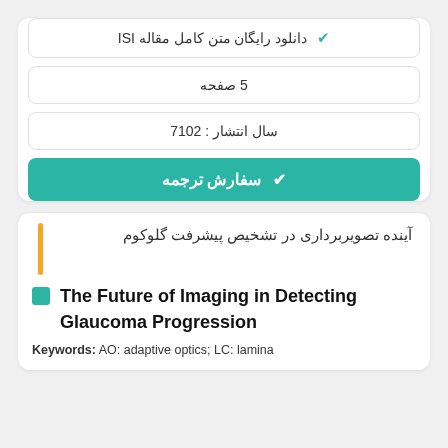✔ دانلود رایگان متن کامل مقاله ISI
5 صفحه
سال انتشار : 2017
✔ سفارش ترجمه
آینده تصویربرداری در تشخیص پیشرفت گلوکوم
The Future of Imaging in Detecting Glaucoma Progression
Keywords: AO: adaptive optics; LC: lamina